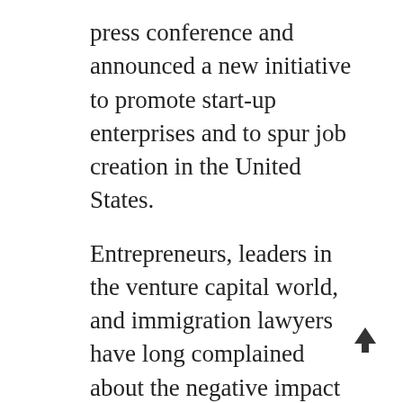press conference and announced a new initiative to promote start-up enterprises and to spur job creation in the United States.
Entrepreneurs, leaders in the venture capital world, and immigration lawyers have long complained about the negative impact of immigration rules and regulations on the ability of entrepreneurs to create start-up enterprises in the United States which will help the economy and lead to new jobs. It appears that Secretary Napolitano and Director Mayorkas now recognize this problem and are taking steps to create a more hospitable environment for entrepreneurs in the United States.
While many initiatives lack specificity, or do not make substantial structural changes, we hope that this initiative will change the attitude of USCIS adjudicators and make them view applications from